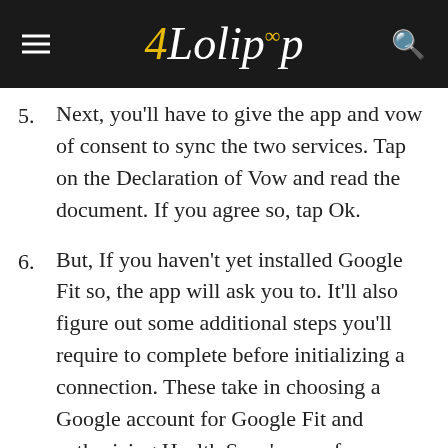4Lolipop
5. Next, you'll have to give the app and vow of consent to sync the two services. Tap on the Declaration of Vow and read the document. If you agree so, tap Ok.
6. But, If you haven't yet installed Google Fit so, the app will ask you to. It'll also figure out some additional steps you'll require to complete before initializing a connection. These take in choosing a Google account for Google Fit and authorizing Health Sync's use of your Fitbit account.
7. Once initialization is done, Health Sync will let you choose which fields you'd want to sync by